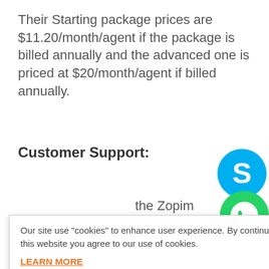Their Starting package prices are $11.20/month/agent if the package is billed annually and the advanced one is priced at $20/month/agent if billed annually.
Customer Support:
the Zopim chat option with a ily guide you ou encounter
[Figure (logo): Skype logo - blue circle with white S]
[Figure (logo): WhatsApp logo - green circle with white phone handset]
Our site use "cookies" to enhance user experience. By continuing to visit this website you agree to our use of cookies.
LEARN MORE
ACCEPT